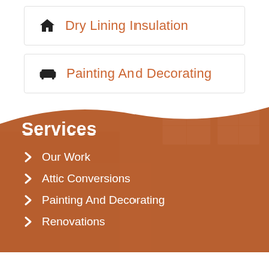Dry Lining Insulation
Painting And Decorating
Services
Our Work
Attic Conversions
Painting And Decorating
Renovations